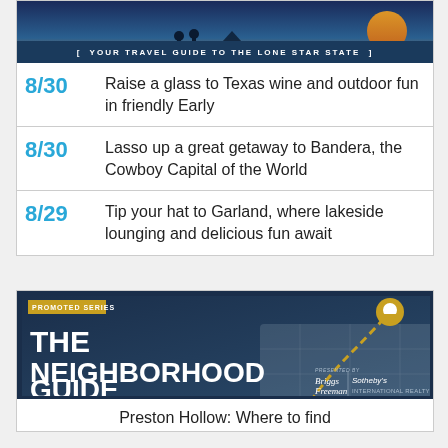[Figure (illustration): Banner image for Texas travel guide with illustration of people outdoors at sunset, with dark blue bar reading YOUR TRAVEL GUIDE TO THE LONE STAR STATE]
8/30 Raise a glass to Texas wine and outdoor fun in friendly Early
8/30 Lasso up a great getaway to Bandera, the Cowboy Capital of the World
8/29 Tip your hat to Garland, where lakeside lounging and delicious fun await
[Figure (illustration): The Neighborhood Guide promoted series banner with dark navy background, gold map pin, dashed path, and Briggs Freeman Sotheby's International Realty logo]
Preston Hollow: Where to find